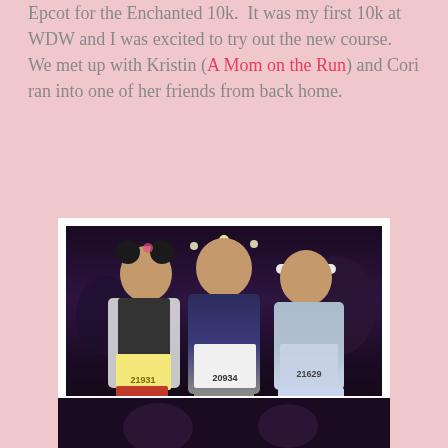Epcot for the Enchanted 10k. It was my first 10k at WDW and I was excited to try out the new course. We met up with Kristin (A Mom on the Run) and Cori ran into one of her friends from back home.
[Figure (photo): Three women runners posing together at night before a race, wearing race bibs numbered 21931, 20934, and 21629. The left woman wears mouse ears and a white jacket over dark clothes, the middle woman wears a dark outfit, and the right woman wears a light gray tank top with sparkly shorts. Taken outdoors at night with lights in the background.]